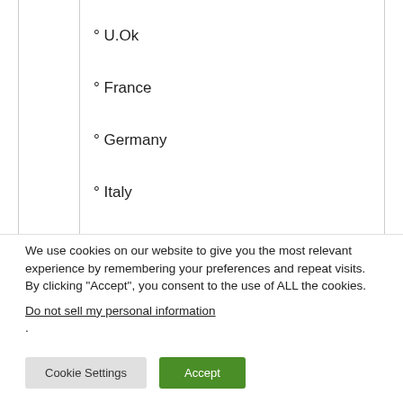° U.Ok
° France
° Germany
° Italy
° (partially visible)
We use cookies on our website to give you the most relevant experience by remembering your preferences and repeat visits. By clicking “Accept”, you consent to the use of ALL the cookies.
Do not sell my personal information.